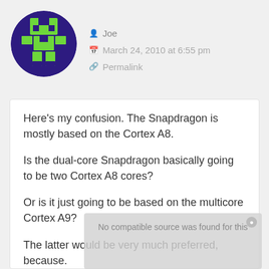[Figure (illustration): Circular avatar with green and purple pixel/Minecraft-style character icon]
Joe
March 24, 2010 at 6:55 pm
Permalink
Here's my confusion. The Snapdragon is mostly based on the Cortex A8.

Is the dual-core Snapdragon basically going to be two Cortex A8 cores?

Or is it just going to be based on the multicore Cortex A9?

The latter would be very much preferred, because.
[Figure (screenshot): Overlay showing 'No compatible source was found for this' message with a close button, and a faint watermark with text behind it]